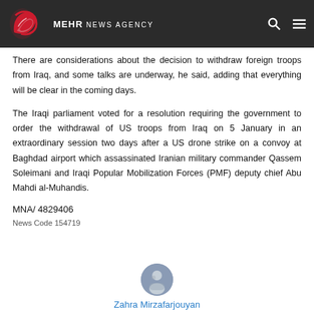MEHR NEWS AGENCY
There are considerations about the decision to withdraw foreign troops from Iraq, and some talks are underway, he said, adding that everything will be clear in the coming days.
The Iraqi parliament voted for a resolution requiring the government to order the withdrawal of US troops from Iraq on 5 January in an extraordinary session two days after a US drone strike on a convoy at Baghdad airport which assassinated Iranian military commander Qassem Soleimani and Iraqi Popular Mobilization Forces (PMF) deputy chief Abu Mahdi al-Muhandis.
MNA/ 4829406
News Code 154719
Zahra Mirzafarjouyan